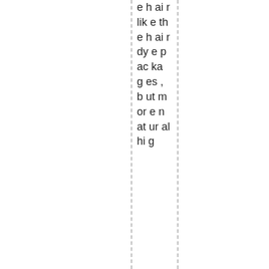e h ai r lik e th e h ai r dy e p ac ka g es , b ut m or e n at ur al hi g